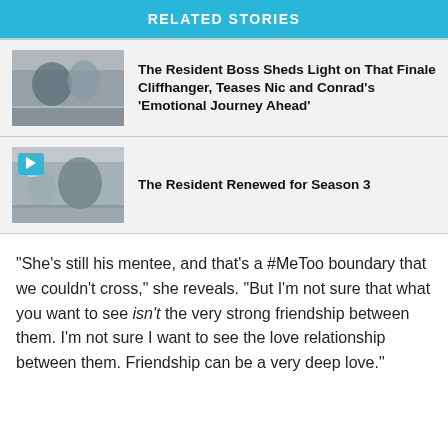RELATED STORIES
The Resident Boss Sheds Light on That Finale Cliffhanger, Teases Nic and Conrad's 'Emotional Journey Ahead'
The Resident Renewed for Season 3
“She’s still his mentee, and that’s a #MeToo boundary that we couldn’t cross,” she reveals. “But I’m not sure that what you want to see isn’t the very strong friendship between them. I’m not sure I want to see the love relationship between them. Friendship can be a very deep love.”